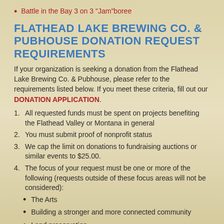Battle in the Bay 3 on 3 "Jam"boree
FLATHEAD LAKE BREWING CO. & PUBHOUSE DONATION REQUEST REQUIREMENTS
If your organization is seeking a donation from the Flathead Lake Brewing Co. & Pubhouse, please refer to the requirements listed below. If you meet these criteria, fill out our DONATION APPLICATION.
1. All requested funds must be spent on projects benefiting the Flathead Valley or Montana in general
2. You must submit proof of nonprofit status
3. We cap the limit on donations to fundraising auctions or similar events to $25.00.
4. The focus of your request must be one or more of the following (requests outside of these focus areas will not be considered):
The Arts
Building a stronger and more connected community
Land preservation